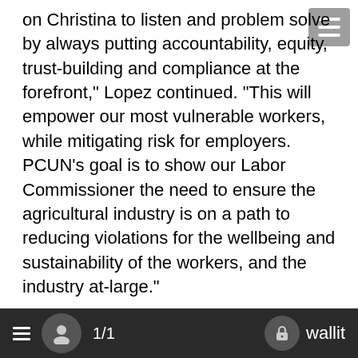on Christina to listen and problem solve by always putting accountability, equity, trust-building and compliance at the forefront," Lopez continued. "This will empower our most vulnerable workers, while mitigating risk for employers. PCUN's goal is to show our Labor Commissioner the need to ensure the agricultural industry is on a path to reducing violations for the wellbeing and sustainability of the workers, and the industry at-large."
Lopez stressed that BOLI must be culturally competent and accessible to Oregon workers, especially those susceptible to barriers such as language, disabilities or lack of internet and technology."
Stephenson followed her PCUN visit with a trip across town to meet with members of the iron-workers union and other trade union members at the Amazon construction site. The union members have been protesting Amazon's construction wages,
1/1   wallit